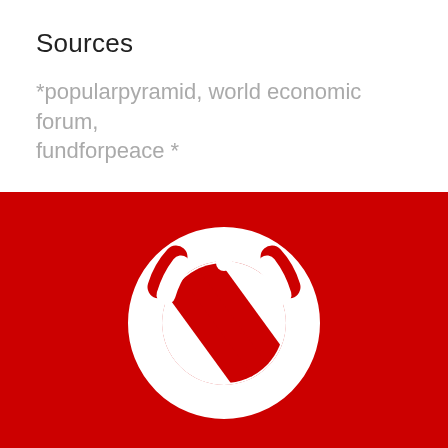Sources
*popularpyramid, world economic forum, fundforpeace *
[Figure (logo): White power-button style logo with red diagonal stripes inside a circle, set on a red background. The logo consists of a circular ring with a stem at the top (like a power symbol) and the interior of the circle filled with alternating white and red diagonal stripes.]